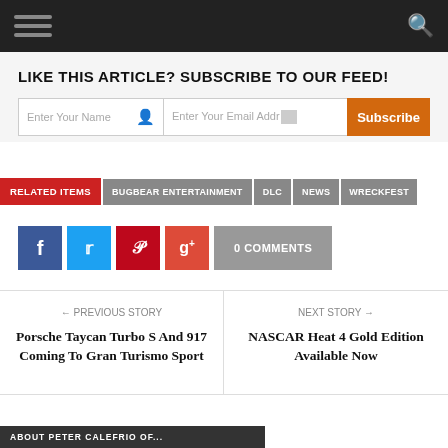Navigation bar with hamburger menu and search icon
LIKE THIS ARTICLE? SUBSCRIBE TO OUR FEED!
Enter Your Name | Enter Your Email Address | Subscribe
RELATED ITEMS | BUGBEAR ENTERTAINMENT | DLC | NEWS | WRECKFEST
[Figure (infographic): Social share buttons: Facebook, Twitter, Pinterest, Google+, and 0 COMMENTS button]
← PREVIOUS STORY
Porsche Taycan Turbo S And 917 Coming To Gran Turismo Sport
NEXT STORY →
NASCAR Heat 4 Gold Edition Available Now
ABOUT PETER CALEFRIO OF...